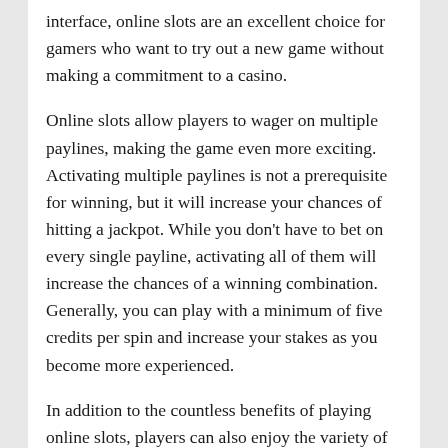interface, online slots are an excellent choice for gamers who want to try out a new game without making a commitment to a casino.
Online slots allow players to wager on multiple paylines, making the game even more exciting. Activating multiple paylines is not a prerequisite for winning, but it will increase your chances of hitting a jackpot. While you don't have to bet on every single payline, activating all of them will increase the chances of a winning combination. Generally, you can play with a minimum of five credits per spin and increase your stakes as you become more experienced.
In addition to the countless benefits of playing online slots, players can also enjoy the variety of slot machines. You can play different types of slots depending on your preferences. Whether you prefer to play high-risk or low-risk games, there is a slot machine for you. There are hundreds of online casinos to choose from, and they all offer different games.